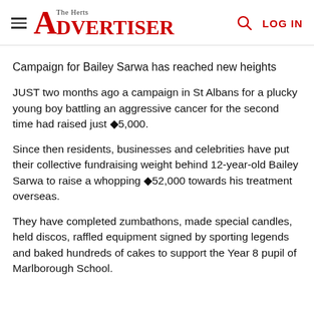The Herts Advertiser — LOG IN
Campaign for Bailey Sarwa has reached new heights
JUST two months ago a campaign in St Albans for a plucky young boy battling an aggressive cancer for the second time had raised just £5,000.
Since then residents, businesses and celebrities have put their collective fundraising weight behind 12-year-old Bailey Sarwa to raise a whopping £52,000 towards his treatment overseas.
They have completed zumbathons, made special candles, held discos, raffled equipment signed by sporting legends and baked hundreds of cakes to support the Year 8 pupil of Marlborough School.